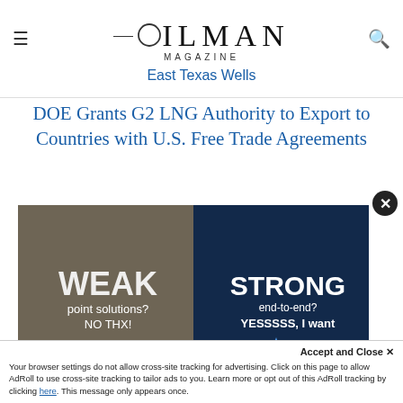OILMAN MAGAZINE
East Texas Wells
DOE Grants G2 LNG Authority to Export to Countries with U.S. Free Trade Agreements
[Figure (photo): Advertisement showing two wolves side by side — left half pale/white with text 'WEAK point solutions? NO THX!' and right half blue-tinted dark wolf with text 'STRONG end-to-end? YESSSSS, I want PakEnergy']
Your browser settings do not allow cross-site tracking for advertising. Click on this page to allow AdRoll to use cross-site tracking to tailor ads to you. Learn more or opt out of this AdRoll tracking by clicking here. This message only appears once.